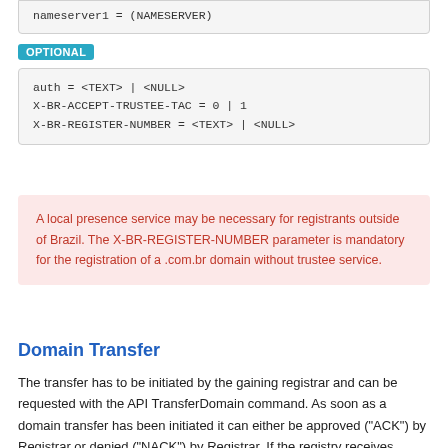nameserver1 = (NAMESERVER)
OPTIONAL
auth = <TEXT> | <NULL>
X-BR-ACCEPT-TRUSTEE-TAC = 0 | 1
X-BR-REGISTER-NUMBER = <TEXT> | <NULL>
A local presence service may be necessary for registrants outside of Brazil. The X-BR-REGISTER-NUMBER parameter is mandatory for the registration of a .com.br domain without trustee service.
Domain Transfer
The transfer has to be initiated by the gaining registrar and can be requested with the API TransferDomain command. As soon as a domain transfer has been initiated it can either be approved ("ACK") by Registrar or denied ("NACK") by Registrar. If the registry receives neither a